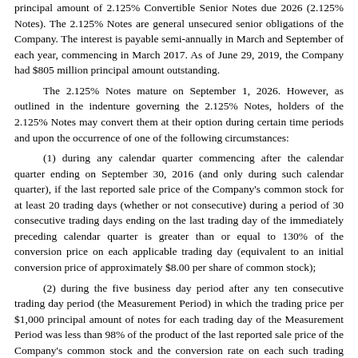principal amount of 2.125% Convertible Senior Notes due 2026 (2.125% Notes). The 2.125% Notes are general unsecured senior obligations of the Company. The interest is payable semi-annually in March and September of each year, commencing in March 2017. As of June 29, 2019, the Company had $805 million principal amount outstanding.
The 2.125% Notes mature on September 1, 2026. However, as outlined in the indenture governing the 2.125% Notes, holders of the 2.125% Notes may convert them at their option during certain time periods and upon the occurrence of one of the following circumstances:
(1) during any calendar quarter commencing after the calendar quarter ending on September 30, 2016 (and only during such calendar quarter), if the last reported sale price of the Company's common stock for at least 20 trading days (whether or not consecutive) during a period of 30 consecutive trading days ending on the last trading day of the immediately preceding calendar quarter is greater than or equal to 130% of the conversion price on each applicable trading day (equivalent to an initial conversion price of approximately $8.00 per share of common stock);
(2) during the five business day period after any ten consecutive trading day period (the Measurement Period) in which the trading price per $1,000 principal amount of notes for each trading day of the Measurement Period was less than 98% of the product of the last reported sale price of the Company's common stock and the conversion rate on each such trading day; or
(3) upon the occurrence of specified corporate events.
On or after June 1, 2026 until the close of business on the business day immediately preceding the maturity date, holders may convert their notes at any